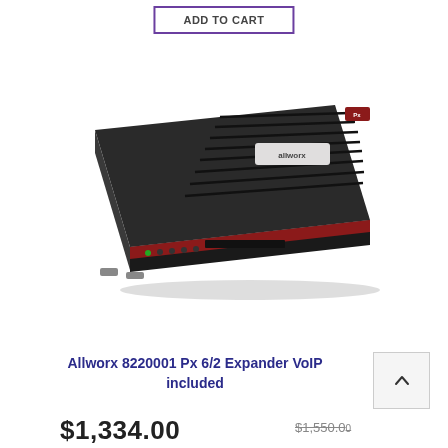ADD TO CART
[Figure (photo): Allworx 8220001 Px 6/2 Expander VoIP device - a flat black network appliance with red accent stripe and ventilation slots on top, shown in 3/4 angle perspective view]
Allworx 8220001 Px 6/2 Expander VoIP included
$1,334.00
$1,550.0